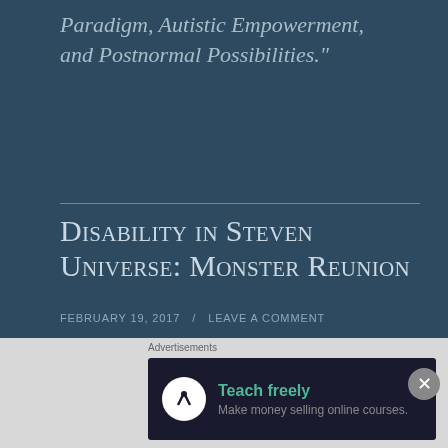Heresies: Notes on the Neurodiversity Paradigm, Autistic Empowerment, and Postnormal Possibilities."
Disability in Steven Universe: Monster Reunion
FEBRUARY 19, 2017 / LEAVE A COMMENT
I have a bone to pick about the way this person behaved. Marginalized people are often expected to defend their experiential learning
[Figure (other): Advertisement banner: 'Teach freely – Make money selling online courses.' with logo icon on dark background]